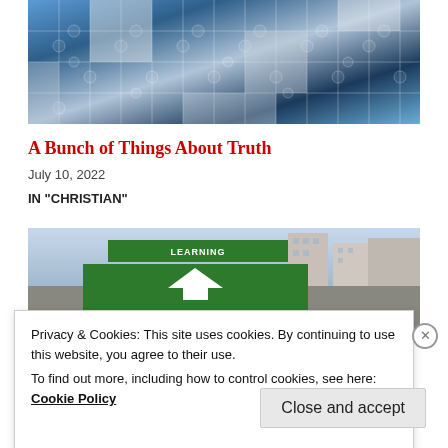[Figure (photo): Puzzle pieces image with blue, white and grey tones forming letters or a design]
A Bunch of Things About Truth
July 10, 2022
IN "CHRISTIAN"
[Figure (photo): Street scene with city buildings and a green directional road sign reading LEARNING with an arrow]
Privacy & Cookies: This site uses cookies. By continuing to use this website, you agree to their use.
To find out more, including how to control cookies, see here: Cookie Policy
Close and accept